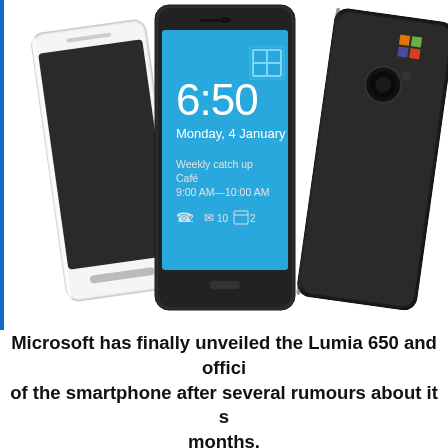[Figure (photo): Photo of Microsoft Lumia 650 smartphones — a white/silver phone on the left showing its side profile, a central phone displaying the Windows 10 lock screen (showing time 6:50, Monday 4 January, with notification icons), and a black phone on the right showing its back with the Microsoft logo.]
Microsoft has finally unveiled the Lumia 650 and offici of the smartphone after several rumours about it s months.